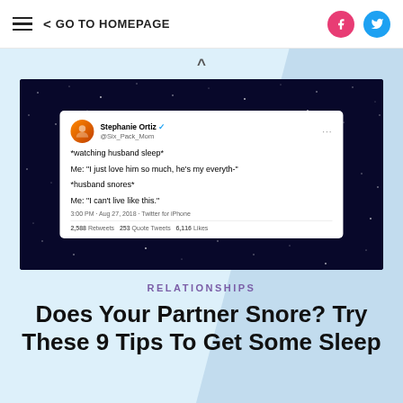≡  < GO TO HOMEPAGE
[Figure (screenshot): Screenshot of a tweet by Stephanie Ortiz (@Six_Pack_Mom) on a dark starry background. Tweet text: '*watching husband sleep* Me: "I just love him so much, he's my everyth-" *husband snores* Me: "I can't live like this."' Posted at 3:00 PM · Aug 27, 2018 · Twitter for iPhone. 2,588 Retweets 253 Quote Tweets 6,116 Likes]
RELATIONSHIPS
Does Your Partner Snore? Try These 9 Tips To Get Some Sleep